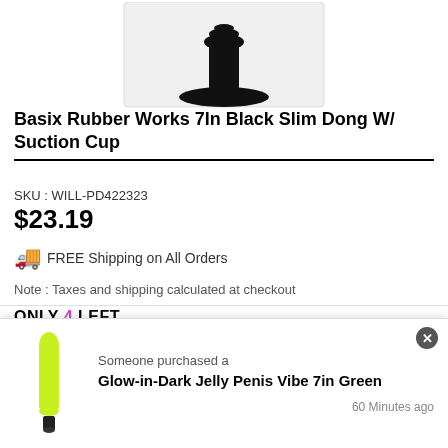[Figure (photo): Partial product image showing a black suction cup base of a dildo against white background]
Basix Rubber Works 7In Black Slim Dong W/ Suction Cup
SKU : WILL-PD422323
$23.19
🚚 FREE Shipping on All Orders
Note : Taxes and shipping calculated at checkout
ONLY 4 LEFT
[Figure (other): Stock progress bar showing partial fill in black]
[Figure (other): Red Add to Cart button, partially visible]
[Figure (photo): Small product image of a yellow-green glow-in-dark jelly vibe]
Someone purchased a
Glow-in-Dark Jelly Penis Vibe 7in Green
60 Minutes ago